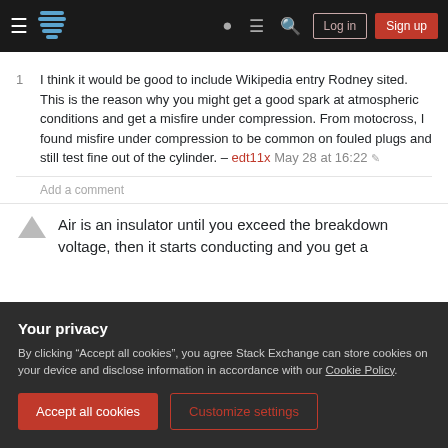Stack Exchange navigation bar with Log in and Sign up buttons
1  I think it would be good to include Wikipedia entry Rodney sited. This is the reason why you might get a good spark at atmospheric conditions and get a misfire under compression. From motocross, I found misfire under compression to be common on fouled plugs and still test fine out of the cylinder. – edt11x May 28 at 16:22
Add a comment
Air is an insulator until you exceed the breakdown voltage, then it starts conducting and you get a
Your privacy
By clicking "Accept all cookies", you agree Stack Exchange can store cookies on your device and disclose information in accordance with our Cookie Policy.
Accept all cookies  Customize settings